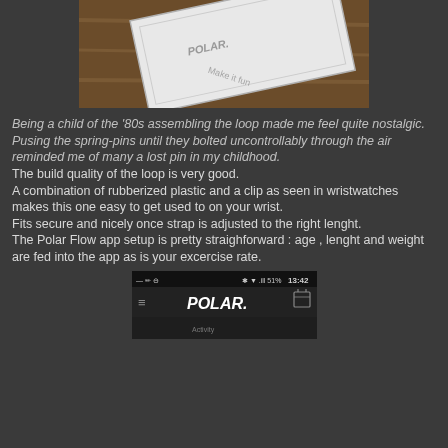[Figure (photo): Photo of a white Polar Loop fitness band box/packaging on a wooden surface, with text 'Make it fun' partially visible on the box]
Being a child of the '80s assembling the loop made me feel quite nostalgic.
Pusing the spring-pins until they bolted uncontrollably through the air reminded me of many a lost pin in my childhood.
The build quality of the loop is very good.
A combination of rubberized plastic and a clip as seen in wristwatches makes this one easy to get used to on your wrist.
Fits secure and nicely once strap is adjusted to the right lenght.
The Polar Flow app setup is pretty straighforward : age , lenght and weight are fed into the app as is your excercise rate.
[Figure (screenshot): Screenshot of a mobile app showing the Polar Flow app interface with status bar showing 13:42 and 51% battery, with the Polar logo visible]